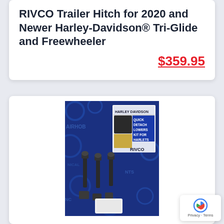RIVCO Trailer Hitch for 2020 and Newer Harley-Davidson® Tri-Glide and Freewheeler
$359.95
[Figure (photo): Product photo of a RIVCO Quick Detach Lowers Kit for Harley Davidson, showing hardware components (bolts, nuts) arranged on a blue branded cloth background with packaging visible]